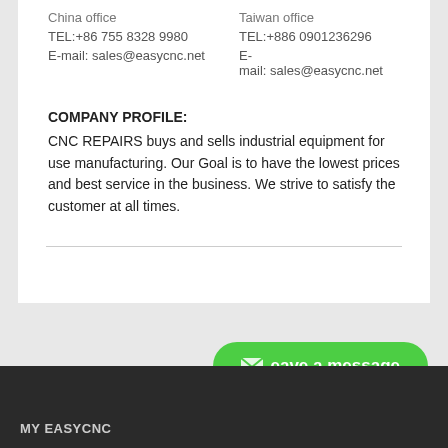China office
TEL:+86 755 8328 9980
E-mail: sales@easycnc.net
Taiwan office
TEL:+886 0901236296
E-mail: sales@easycnc.net
COMPANY PROFILE:
CNC REPAIRS buys and sells industrial equipment for use manufacturing. Our Goal is to have the lowest prices and best service in the business. We strive to satisfy the customer at all times.
Leave a message
MY EASYCNC